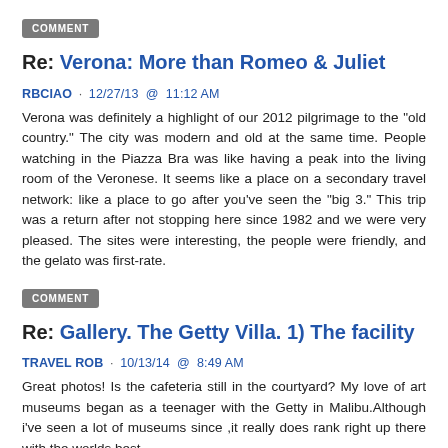COMMENT
Re: Verona: More than Romeo & Juliet
RBCIAO · 12/27/13  @  11:12 AM
Verona was definitely a highlight of our 2012 pilgrimage to the "old country." The city was modern and old at the same time. People watching in the Piazza Bra was like having a peak into the living room of the Veronese. It seems like a place on a secondary travel network: like a place to go after you've seen the "big 3." This trip was a return after not stopping here since 1982 and we were very pleased. The sites were interesting, the people were friendly, and the gelato was first-rate.
COMMENT
Re: Gallery. The Getty Villa. 1) The facility
TRAVEL ROB · 10/13/14  @  8:49 AM
Great photos! Is the cafeteria still in the courtyard? My love of art museums began as a teenager with the Getty in Malibu.Although i've seen a lot of museums since ,it really does rank right up there with the worlds best.